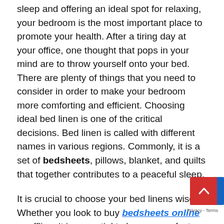sleep and offering an ideal spot for relaxing, your bedroom is the most important place to promote your health. After a tiring day at your office, one thought that pops in your mind are to throw yourself onto your bed. There are plenty of things that you need to consider in order to make your bedroom more comforting and efficient. Choosing ideal bed linen is one of the critical decisions. Bed linen is called with different names in various regions. Commonly, it is a set of bedsheets, pillows, blanket, and quilts that together contributes to a peaceful sleep.
It is crucial to choose your bed linens wisely. Whether you look to buy bedsheets online or offline, it is essential to keep some factors in mind to make a well-informed decision.
Superior Quality Material
The material of your bed linen plays a significant role in deciding the comfort of your bed. Whether you are buying